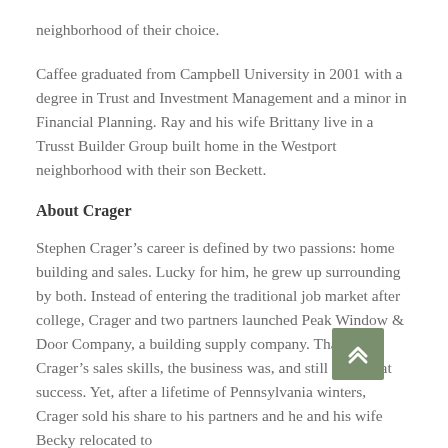neighborhood of their choice.
Caffee graduated from Campbell University in 2001 with a degree in Trust and Investment Management and a minor in Financial Planning. Ray and his wife Brittany live in a Trusst Builder Group built home in the Westport neighborhood with their son Beckett.
About Crager
Stephen Crager’s career is defined by two passions: home building and sales. Lucky for him, he grew up surrounding by both. Instead of entering the traditional job market after college, Crager and two partners launched Peak Window & Door Company, a building supply company. Thanks to Crager’s sales skills, the business was, and still is, a great success. Yet, after a lifetime of Pennsylvania winters, Crager sold his share to his partners and he and his wife Becky relocated to